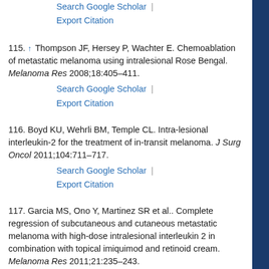Search Google Scholar | Export Citation
115. ↑ Thompson JF, Hersey P, Wachter E. Chemoablation of metastatic melanoma using intralesional Rose Bengal. Melanoma Res 2008;18:405–411.
Search Google Scholar | Export Citation
116. Boyd KU, Wehrli BM, Temple CL. Intra-lesional interleukin-2 for the treatment of in-transit melanoma. J Surg Oncol 2011;104:711–717.
Search Google Scholar | Export Citation
117. Garcia MS, Ono Y, Martinez SR et al.. Complete regression of subcutaneous and cutaneous metastatic melanoma with high-dose intralesional interleukin 2 in combination with topical imiquimod and retinoid cream. Melanoma Res 2011;21:235–243.
Search Google Scholar